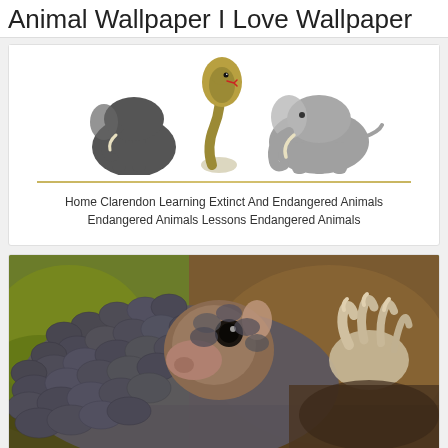Animal Wallpaper I Love Wallpaper
[Figure (illustration): Illustration of cartoon animals including elephants and a cobra snake]
Home Clarendon Learning Extinct And Endangered Animals Endangered Animals Lessons Endangered Animals
[Figure (photo): Close-up photograph of a pangolin with scales visible, looking at the camera, clinging to a surface]